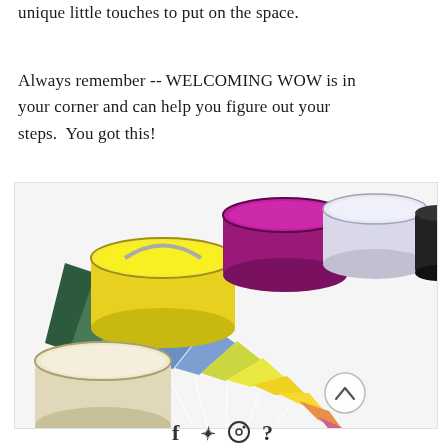unique little touches to put on the space.
Always remember -- WELCOMING WOW is in your corner and can help you figure out your steps.  You got this!
[Figure (photo): Top-down view of open paint cans in yellow, purple/magenta, white, black, and a cream color, alongside a fan of color swatches ranging from blue-green to magenta and yellow.]
Social media icons row